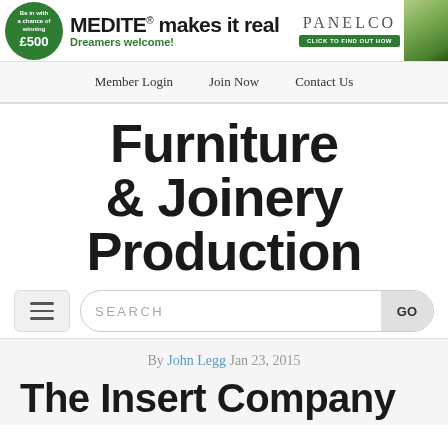[Figure (screenshot): Banner advertisement for MEDITE and PANELCO. Green circle with £500 prize text, MEDITE makes it real headline, Dreamers welcome tagline, PANELCO logo with green button, and outdoor photo.]
Member Login   Join Now   Contact Us
Furniture & Joinery Production
[Figure (other): Hamburger menu icon button and search bar with GO button]
By John Legg Jan 23, 2015
The Insert Company